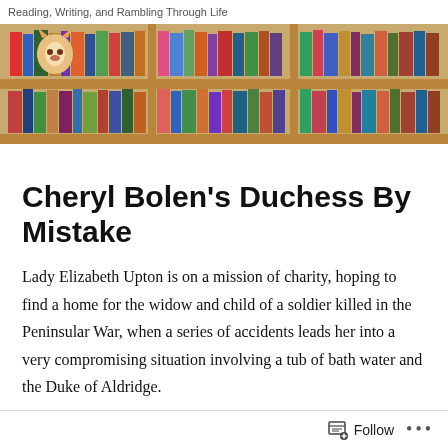Reading, Writing, and Rambling Through Life
[Figure (photo): A photograph of a wooden bookshelf filled with colorful books and a stuffed animal toy on the top left shelf.]
Cheryl Bolen's Duchess By Mistake
Lady Elizabeth Upton is on a mission of charity, hoping to find a home for the widow and child of a soldier killed in the Peninsular War, when a series of accidents leads her into a very compromising situation involving a tub of bath water and the Duke of Aldridge.
Follow